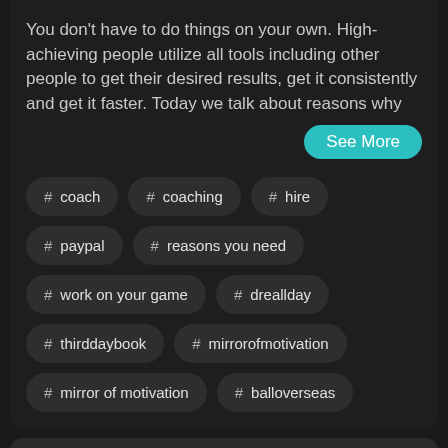You don't have to do things on your own. High-achieving people utilize all tools including other people to get their desired results, get it consistently and get it faster. Today we talk about reasons why
See More
# coach
# coaching
# hire
# paypal
# reasons you need
# work on your game
# dreallday
# thirddaybook
# mirrorofmotivation
# mirror of motivation
# balloverseas
#2269: Roe V. Wade Decision & Abortion